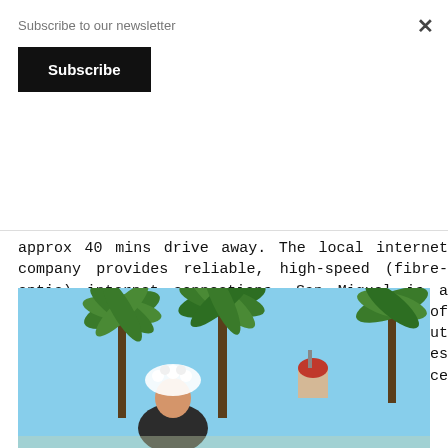Subscribe to our newsletter
Subscribe
approx 40 mins drive away.  The local internet company provides reliable, high-speed (fibre-optic) internet connections.  San Miguel is a place where you can enjoy a taste of traditional Spanish life and culture, without foregoing the benefits of top-class facilities and amenities. It is a very friendly place too, which we think you will love!
[Figure (photo): Woman in traditional Spanish dress with white floral headpiece, palm trees, blue sky, and a church dome visible in background]